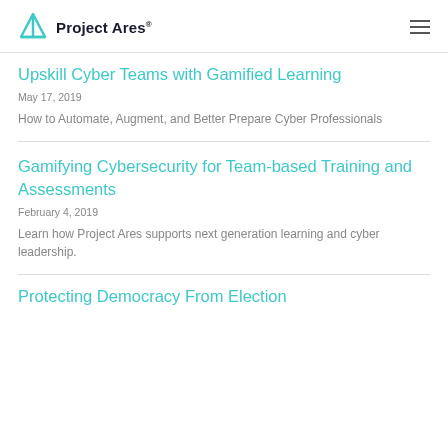Project Ares®
Upskill Cyber Teams with Gamified Learning
May 17, 2019
How to Automate, Augment, and Better Prepare Cyber Professionals
Gamifying Cybersecurity for Team-based Training and Assessments
February 4, 2019
Learn how Project Ares supports next generation learning and cyber leadership.
Protecting Democracy From Election